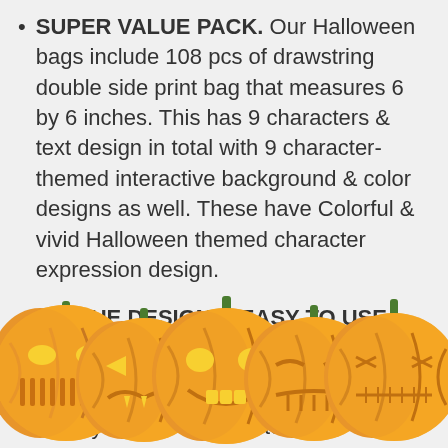SUPER VALUE PACK. Our Halloween bags include 108 pcs of drawstring double side print bag that measures 6 by 6 inches. This has 9 characters & text design in total with 9 character-themed interactive background & color designs as well. These have Colorful & vivid Halloween themed character expression design.
UNIQUE DESIGN & EASY TO USE. Why not pack your candy and let youngste...
[Figure (illustration): A row of five Halloween jack-o'-lantern pumpkins with various carved faces, orange with green stems, positioned along the bottom of the page partially overlapping the text.]